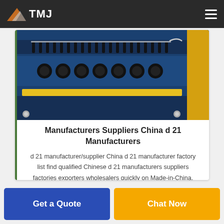TMJ
[Figure (photo): Close-up photo of an industrial machine (blue metal body with black rollers/cylinders and yellow components), partially visible.]
Manufacturers Suppliers China d 21 Manufacturers
d 21 manufacturer/supplier China d 21 manufacturer factory list find qualified Chinese d 21 manufacturers suppliers factories exporters wholesalers quickly on Made-in-China.
Get a Quote
Chat Now